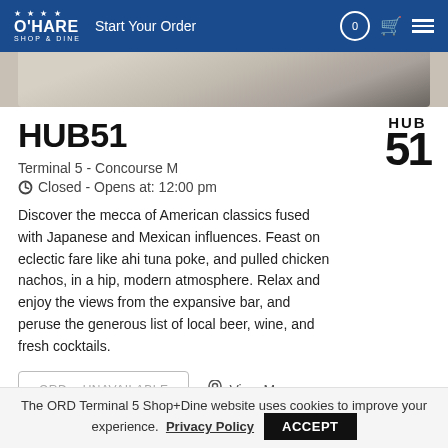O'HARE SHOP & DINE — Start Your Order
[Figure (photo): Interior photo of HUB51 restaurant showing wooden floor and glass partition]
HUB51
[Figure (logo): HUB 51 restaurant logo]
Terminal 5 - Concourse M
Closed - Opens at: 12:00 pm
Discover the mecca of American classics fused with Japanese and Mexican influences. Feast on eclectic fare like ahi tuna poke, and pulled chicken nachos, in a hip, modern atmosphere. Relax and enjoy the views from the expansive bar, and peruse the generous list of local beer, wine, and fresh cocktails.
ORDer UNAVAILABLE
View Map
The ORD Terminal 5 Shop+Dine website uses cookies to improve your experience. Privacy Policy ACCEPT